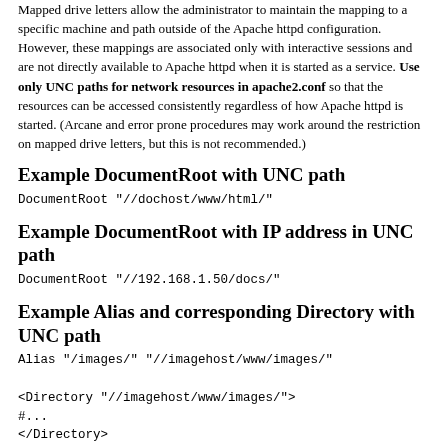Mapped drive letters allow the administrator to maintain the mapping to a specific machine and path outside of the Apache httpd configuration. However, these mappings are associated only with interactive sessions and are not directly available to Apache httpd when it is started as a service. Use only UNC paths for network resources in apache2.conf so that the resources can be accessed consistently regardless of how Apache httpd is started. (Arcane and error prone procedures may work around the restriction on mapped drive letters, but this is not recommended.)
Example DocumentRoot with UNC path
DocumentRoot "//dochost/www/html/"
Example DocumentRoot with IP address in UNC path
DocumentRoot "//192.168.1.50/docs/"
Example Alias and corresponding Directory with UNC path
Alias "/images/" "//imagehost/www/images/"

<Directory "//imagehost/www/images/">
#...
</Directory>